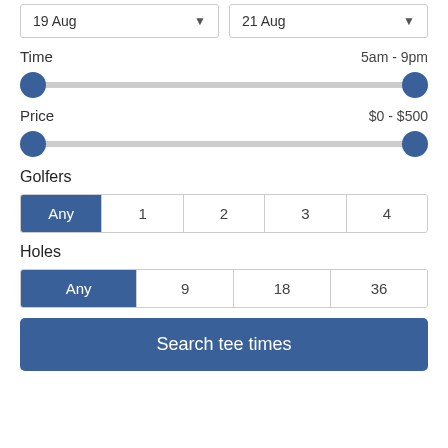19 Aug
21 Aug
Time    5am - 9pm
[Figure (infographic): Range slider for time with two blue circular thumbs at left and right ends of a grey track]
Price    $0 - $500
[Figure (infographic): Range slider for price with two blue circular thumbs at left and right ends of a grey track]
Golfers
Any  1  2  3  4
Holes
Any  9  18  36
Search tee times